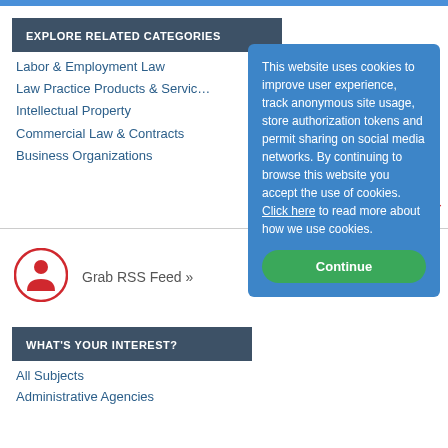EXPLORE RELATED CATEGORIES
Labor & Employment Law
Law Practice Products & Services
Intellectual Property
Commercial Law & Contracts
Business Organizations
[Figure (illustration): RSS feed icon: red circle with white person silhouette]
Grab RSS Feed »
WHAT'S YOUR INTEREST?
All Subjects
Administrative Agencies
This website uses cookies to improve user experience, track anonymous site usage, store authorization tokens and permit sharing on social media networks. By continuing to browse this website you accept the use of cookies. Click here to read more about how we use cookies.
Continue